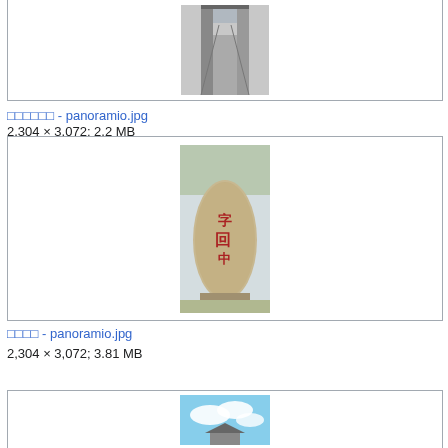[Figure (photo): Photo of a narrow Chinese alley/corridor with stone walls and tiled roof]
□□□□□□ - panoramio.jpg
2,304 × 3,072; 2.2 MB
[Figure (photo): Photo of a large stone monument/stele with red Chinese calligraphy inscription]
□□□□ - panoramio.jpg
2,304 × 3,072; 3.81 MB
[Figure (photo): Photo partially visible showing sky with clouds and a traditional Chinese structure]